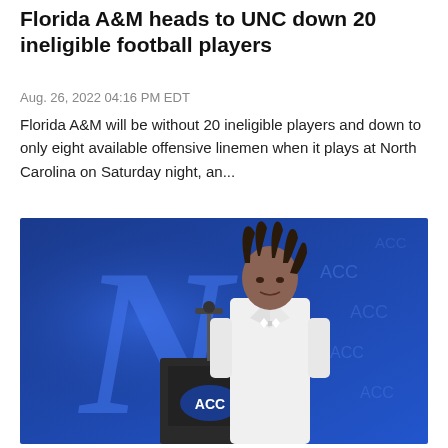Florida A&M heads to UNC down 20 ineligible football players
Aug. 26, 2022 04:16 PM EDT
Florida A&M will be without 20 ineligible players and down to only eight available offensive linemen when it plays at North Carolina on Saturday night, an...
[Figure (photo): A young man in a white suit at a podium with ACC logo, in front of a blue UNC North Carolina logo backdrop]